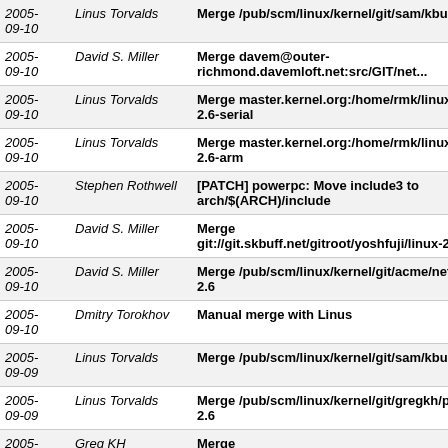| Date | Author | Message |
| --- | --- | --- |
| 2005-09-10 | Linus Torvalds | Merge /pub/scm/linux/kernel/git/sam/kbuild |
| 2005-09-10 | David S. Miller | Merge davem@outer-richmond.davemloft.net:src/GIT/net... |
| 2005-09-10 | Linus Torvalds | Merge master.kernel.org:/home/rmk/linux-2.6-serial |
| 2005-09-10 | Linus Torvalds | Merge master.kernel.org:/home/rmk/linux-2.6-arm |
| 2005-09-10 | Stephen Rothwell | [PATCH] powerpc: Move include3 to arch/$(ARCH)/include |
| 2005-09-10 | David S. Miller | Merge git://git.skbuff.net/gitroot/yoshfuji/linux-2... |
| 2005-09-10 | David S. Miller | Merge /pub/scm/linux/kernel/git/acme/net-2.6 |
| 2005-09-10 | Dmitry Torokhov | Manual merge with Linus |
| 2005-09-09 | Linus Torvalds | Merge /pub/scm/linux/kernel/git/sam/kbuild |
| 2005-09-09 | Linus Torvalds | Merge /pub/scm/linux/kernel/git/gregkh/pci-2.6 |
| 2005-09- | Greg KH | Merge |